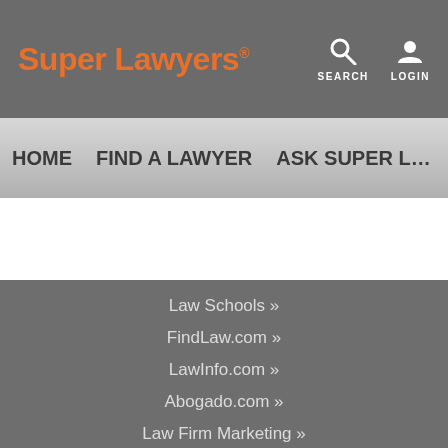Super Lawyers
SEARCH LOGIN
HOME   FIND A LAWYER   ASK SUPER L…
Law Schools »
FindLaw.com »
LawInfo.com »
Abogado.com »
Law Firm Marketing »